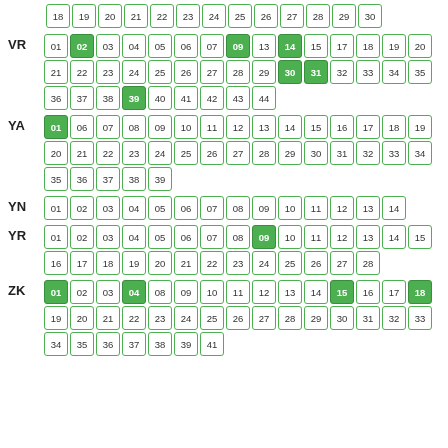[Figure (other): Grid of numbered boxes for categories VR, YA, YN, YR, ZK with some highlighted green]
18 19 20 21 22 23 24 25 26 27 28 29 30 (top partial row)
VR: 01 02(g) 03 04 05 06 07 09(g) 13 14(g) 15 17 18 19 20 21 22 23 24 25 26 27 28 29 30(g) 31(g) 32 33 34 35 36 37 38 39(g) 40 41 42 43 44
YA: 01(g) 06 07 08 09 10 11 12 13 14 15 16 17 18 19 20 21 22 23 24 25 26 27 28 29 30 31 32 33 34 35 36 37 38 39
YN: 01 02 03 04 05 06 07 08 09 10 11 12 13 14
YR: 01 02 03 04 05 06 07 08 09(g) 10 11 12 13 14 15 16 17 18 19 20 21 22 23 24 25 26 27 28
ZK: 01(g) 02 03 04(g) 08 09 10 11 12 13 14 15(g) 16 17 18(g) 19 20 21 22 23 24 25 26 27 28 29 30 31 32 33 34 35 36 37 38 39 41